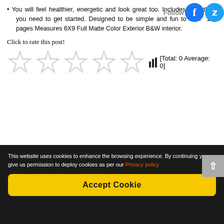You will feel healthier, energetic and look great too. Includes everything you need to get started. Designed to be simple and fun to use. 104 pages Measures 6X9 Full Matte Color Exterior B&W interior.
Click to rate this post!
[Figure (other): Five star rating widget (all stars empty/outline) with a bar chart icon and text [Total: 0 Average: 0]]
[Figure (other): Social media icons: Follow label, Facebook circle icon, Twitter bird circle icon]
This website uses cookies to enhance the browsing experience. By continuing you give us permission to deploy cookies as per our Privacy policy
Accept Cookie